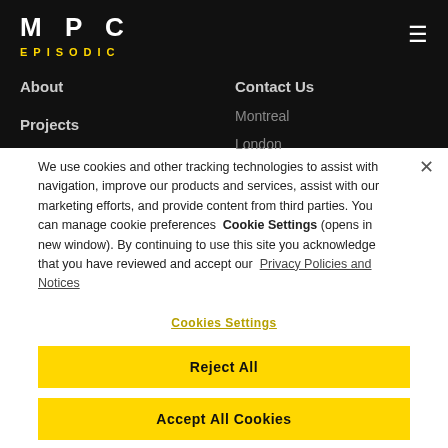MPC EPISODIC
About
Contact Us
Montreal
Projects
London
We use cookies and other tracking technologies to assist with navigation, improve our products and services, assist with our marketing efforts, and provide content from third parties. You can manage cookie preferences Cookie Settings (opens in new window). By continuing to use this site you acknowledge that you have reviewed and accept our Privacy Policies and Notices
Cookies Settings
Reject All
Accept All Cookies